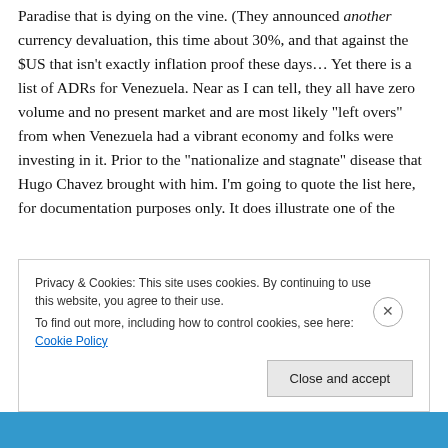Paradise that is dying on the vine. (They announced another currency devaluation, this time about 30%, and that against the $US that isn't exactly inflation proof these days… Yet there is a list of ADRs for Venezuela. Near as I can tell, they all have zero volume and no present market and are most likely “left overs” from when Venezuela had a vibrant economy and folks were investing in it. Prior to the “nationalize and stagnate” disease that Hugo Chavez brought with him. I'm going to quote the list here, for documentation purposes only. It does illustrate one of the
Privacy & Cookies: This site uses cookies. By continuing to use this website, you agree to their use.
To find out more, including how to control cookies, see here: Cookie Policy
Close and accept